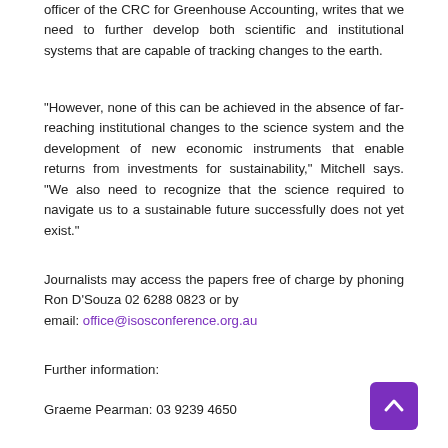officer of the CRC for Greenhouse Accounting, writes that we need to further develop both scientific and institutional systems that are capable of tracking changes to the earth.
“However, none of this can be achieved in the absence of far-reaching institutional changes to the science system and the development of new economic instruments that enable returns from investments for sustainability,” Mitchell says. “We also need to recognize that the science required to navigate us to a sustainable future successfully does not yet exist.”
Journalists may access the papers free of charge by phoning Ron D’Souza 02 6288 0823 or by email: office@isosconference.org.au
Further information:
Graeme Pearman: 03 9239 4650